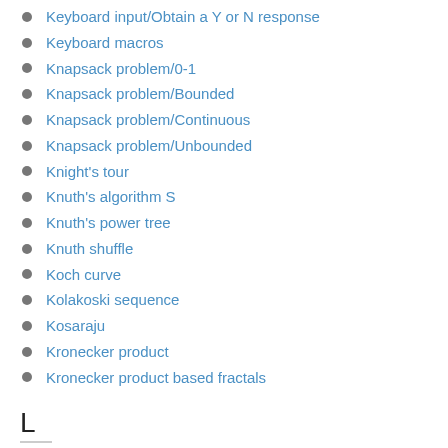Keyboard input/Obtain a Y or N response
Keyboard macros
Knapsack problem/0-1
Knapsack problem/Bounded
Knapsack problem/Continuous
Knapsack problem/Unbounded
Knight's tour
Knuth's algorithm S
Knuth's power tree
Knuth shuffle
Koch curve
Kolakoski sequence
Kosaraju
Kronecker product
Kronecker product based fractals
L
LU decomposition
LZW compression
Lah numbers
Langton's ant
Largest int from concatenated ints